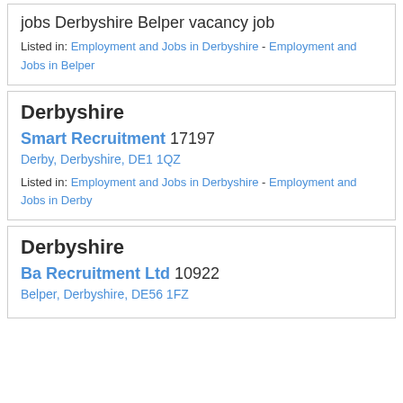jobs Derbyshire Belper vacancy job
Listed in: Employment and Jobs in Derbyshire - Employment and Jobs in Belper
Derbyshire
Smart Recruitment 17197
Derby, Derbyshire, DE1 1QZ
Listed in: Employment and Jobs in Derbyshire - Employment and Jobs in Derby
Derbyshire
Ba Recruitment Ltd 10922
Belper, Derbyshire, DE56 1FZ